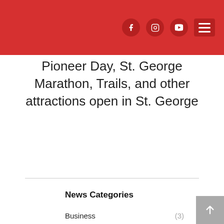f  [instagram]  [youtube]  ≡
Pioneer Day, St. George Marathon, Trails, and other attractions open in St. George
News Categories
Business (3)
DOCUTAH (3)
Entertainment (4)
Film & Television (3)